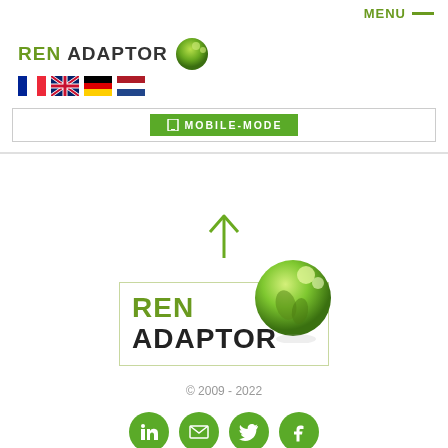MENU —
[Figure (logo): REN ADAPTOR logo in green with globe/kidney icon at top left]
[Figure (infographic): Four country flags: France, UK, Germany, Netherlands]
[Figure (screenshot): MOBILE-MODE button bar with green button]
[Figure (illustration): Green upward arrow]
[Figure (logo): Large REN ADAPTOR logo with green globe/kidney sphere illustration]
© 2009 - 2022
[Figure (infographic): Four social media icons: LinkedIn, Email, Twitter, Facebook — green circles]